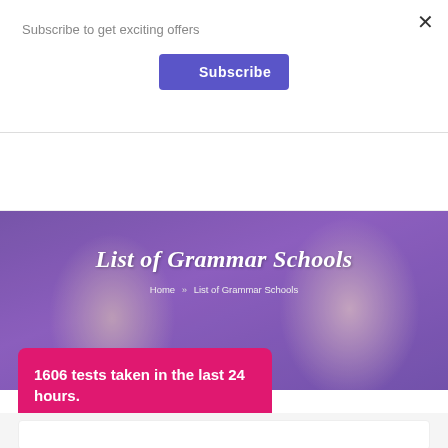Subscribe to get exciting offers
Subscribe
[Figure (logo): 11PlusEHelp logo with circular badge, globe and book icon, text reading PRACTICE AND PERSEVERANCE FOR GENIUS AND TALENT, 11Plus e Help]
List of Grammar Schools
Home » List of Grammar Schools
1606 tests taken in the last 24 hours.